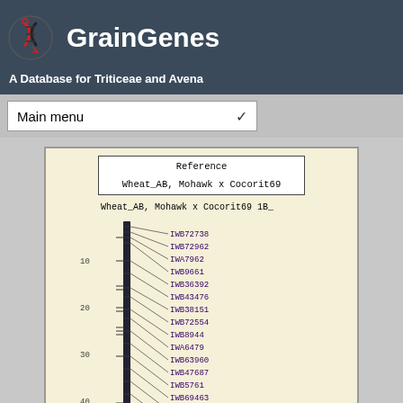GrainGenes
A Database for Triticeae and Avena
Main menu
[Figure (other): Genetic linkage map showing Wheat_AB, Mohawk x Cocorit69 1B_ chromosome with markers IWB72738, IWB72962, IWA7962, IWB9661, IWB36392, IWB43476, IWB38151, IWB72554, IWB8944, IWA6479, IWB63960, IWB47687, IWB5761, IWB69463, IWB9781, IWB22138, IWB44036, IWB65956, IWB27783 at various cM positions from 10 to 40+]
Reference
Wheat_AB, Mohawk x Cocorit69
Wheat_AB, Mohawk x Cocorit69 1B_